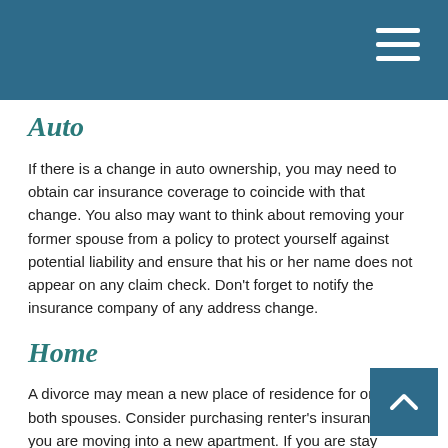Auto
If there is a change in auto ownership, you may need to obtain car insurance coverage to coincide with that change. You also may want to think about removing your former spouse from a policy to protect yourself against potential liability and ensure that his or her name does not appear on any claim check. Don't forget to notify the insurance company of any address change.
Home
A divorce may mean a new place of residence for one or both spouses. Consider purchasing renter's insurance if you are moving into a new apartment. If you are staying your present home, you may want to remove your ex-spouse's name from the policy and consider changes to